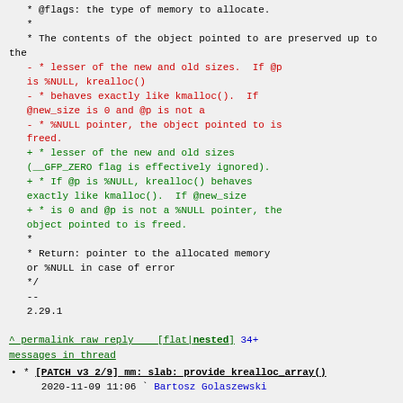* @flags: the type of memory to allocate.
   *
   * The contents of the object pointed to are preserved up to the
   - * lesser of the new and old sizes.  If @p is %NULL, krealloc()
   - * behaves exactly like kmalloc().  If @new_size is 0 and @p is not a
   - * %NULL pointer, the object pointed to is freed.
   + * lesser of the new and old sizes (__GFP_ZERO flag is effectively ignored).
   + * If @p is %NULL, krealloc() behaves exactly like kmalloc().  If @new_size
   + * is 0 and @p is not a %NULL pointer, the object pointed to is freed.
   *
   * Return: pointer to the allocated memory or %NULL in case of error
   */
   --
   2.29.1
^ permalink raw reply   [flat|nested] 34+ messages in thread
* [PATCH v3 2/9] mm: slab: provide krealloc_array()
   2020-11-09 11:06 ` Bartosz Golaszewski